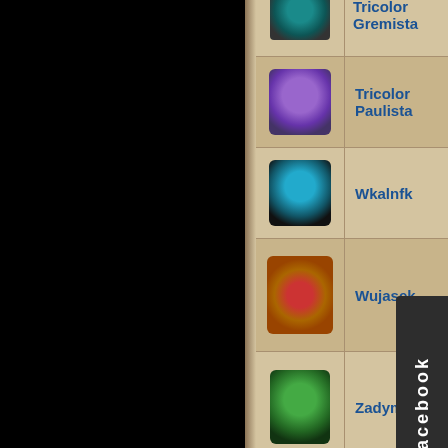[Figure (screenshot): Game character list showing pixel art sprites with player names in a table layout. Rows include: Tricolor Gremista (partial, top), Tricolor Paulista, Wkalnfk, Wujasek, Zadymka, Zdand. A Facebook badge appears on the right side.]
Currently available commands for spec
/show - display the amount of currently ac
/name - change your name on chat with p
/auth - authenticate to an exisiting cast (re